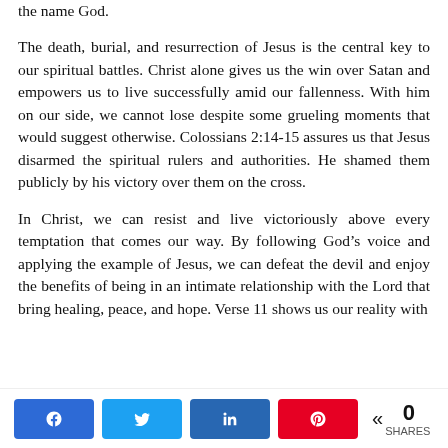the name God.
The death, burial, and resurrection of Jesus is the central key to our spiritual battles. Christ alone gives us the win over Satan and empowers us to live successfully amid our fallenness. With him on our side, we cannot lose despite some grueling moments that would suggest otherwise. Colossians 2:14-15 assures us that Jesus disarmed the spiritual rulers and authorities. He shamed them publicly by his victory over them on the cross.
In Christ, we can resist and live victoriously above every temptation that comes our way. By following God’s voice and applying the example of Jesus, we can defeat the devil and enjoy the benefits of being in an intimate relationship with the Lord that bring healing, peace, and hope. Verse 11 shows us our reality with